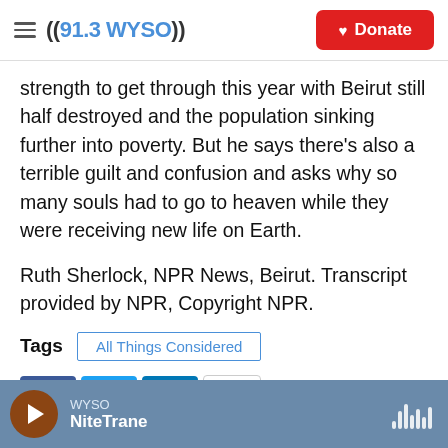((91.3 WYSO)) Donate
strength to get through this year with Beirut still half destroyed and the population sinking further into poverty. But he says there's also a terrible guilt and confusion and asks why so many souls had to go to heaven while they were receiving new life on Earth.
Ruth Sherlock, NPR News, Beirut. Transcript provided by NPR, Copyright NPR.
Tags   All Things Considered
[Figure (other): Social sharing buttons: Facebook, Twitter, LinkedIn, Email]
WYSO NiteTrane (audio player bar)